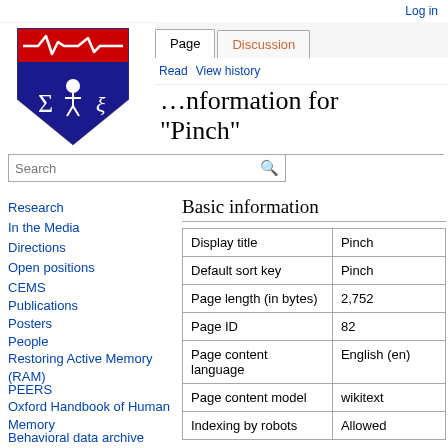Log in
[Figure (logo): University of Pennsylvania shield logo with red top bar containing a white EKG/heartbeat line, blue diamond with Sigma and Xi symbols and a figure]
Page | Discussion | Read | View history
…nformation for "Pinch"
Search
Research
In the Media
Directions
Open positions
CEMS
Publications
Posters
People
Restoring Active Memory (RAM)
PEERS
Oxford Handbook of Human Memory
Behavioral data archive
Cognitive…
Basic information
|  |  |
| --- | --- |
| Display title | Pinch |
| Default sort key | Pinch |
| Page length (in bytes) | 2,752 |
| Page ID | 82 |
| Page content language | English (en) |
| Page content model | wikitext |
| Indexing by robots | Allowed |